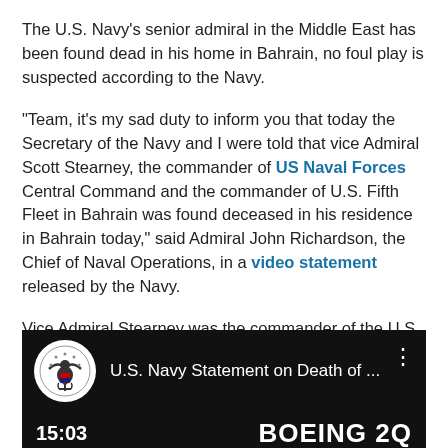The U.S. Navy's senior admiral in the Middle East has been found dead in his home in Bahrain, no foul play is suspected according to the Navy.
“Team, it’s my sad duty to inform you that today the Secretary of the Navy and I were told that vice Admiral Scott Stearney, the commander of US Naval Forces Central Command and the commander of U.S. Fifth Fleet in Bahrain was found deceased in his residence in Bahrain today,” said Admiral John Richardson, the Chief of Naval Operations, in a video statement released by the Navy.
Vice Admiral Stearney was the commander of the U.S. Navy’s Fifth Fleet based in Bahrain.
[Figure (screenshot): YouTube video thumbnail showing U.S. Navy seal logo and title 'U.S. Navy Statement on Death of ...' with timestamp 15:03 and partial text 'BOEING 2Q' at bottom right on black background]